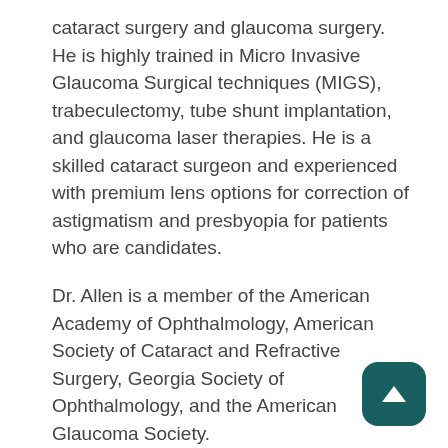cataract surgery and glaucoma surgery.  He is highly trained in Micro Invasive Glaucoma Surgical techniques (MIGS), trabeculectomy, tube shunt implantation, and glaucoma laser therapies. He is a skilled cataract surgeon and experienced with premium lens options for correction of astigmatism and presbyopia for patients who are candidates.
Dr. Allen is a member of the American Academy of Ophthalmology, American Society of Cataract and Refractive Surgery, Georgia Society of Ophthalmology, and the American Glaucoma Society.
[Figure (other): Scroll-to-top button: dark teal rounded square with a white upward-pointing triangle arrow]